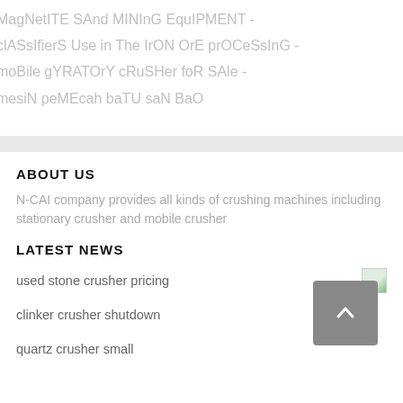MagNetITE SAnd MINInG EquIPMENT -
clASsIfierS Use in The IrON OrE prOCeSsInG -
moBile gYRATOrY cRuSHer foR SAle -
mesiN peMEcah baTU saN BaO
ABOUT US
N-CAI company provides all kinds of crushing machines including stationary crusher and mobile crusher
LATEST NEWS
used stone crusher pricing
clinker crusher shutdown
quartz crusher small